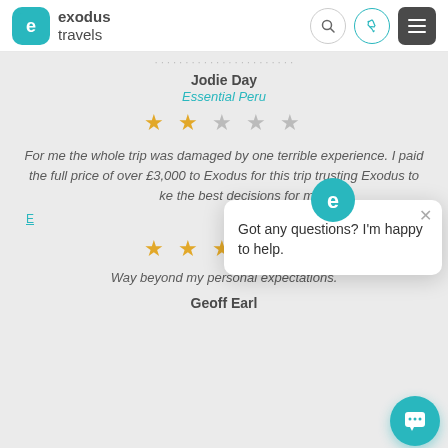exodus travels
...
Jodie Day
Essential Peru
[Figure (other): 2 out of 5 stars rating]
For me the whole trip was damaged by one terrible experience. I paid the full price of over £3,000 to Exodus for this trip trusting Exodus to make the best decisions for me. I wa
E...
[Figure (other): Chat popup: Got any questions? I'm happy to help.]
[Figure (other): 5 out of 5 stars rating]
Way beyond my personal expectations.
Geoff Earl